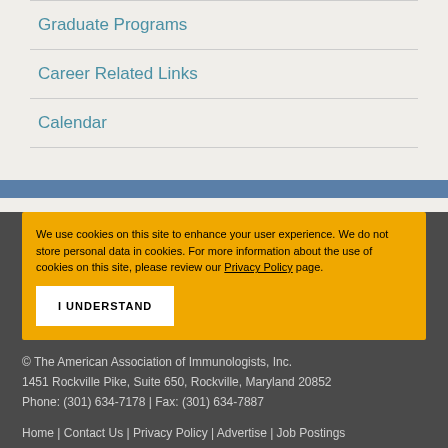Graduate Programs
Career Related Links
Calendar
We use cookies on this site to enhance your user experience. We do not store personal data in cookies. For more information about the use of cookies on this site, please review our Privacy Policy page.
I UNDERSTAND
© The American Association of Immunologists, Inc. 1451 Rockville Pike, Suite 650, Rockville, Maryland 20852 Phone: (301) 634-7178 | Fax: (301) 634-7887
Home | Contact Us | Privacy Policy | Advertise | Job Postings | Site Map